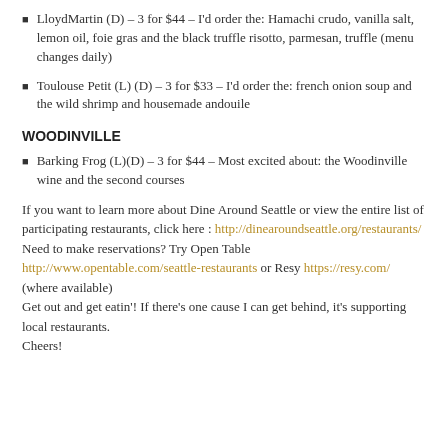LloydMartin (D) – 3 for $44 – I'd order the: Hamachi crudo, vanilla salt, lemon oil, foie gras and the black truffle risotto, parmesan, truffle (menu changes daily)
Toulouse Petit (L) (D) – 3 for $33 – I'd order the: french onion soup and the wild shrimp and housemade andouile
WOODINVILLE
Barking Frog (L)(D) – 3 for $44 – Most excited about: the Woodinville wine and the second courses
If you want to learn more about Dine Around Seattle or view the entire list of participating restaurants, click here : http://dinearoundseattle.org/restaurants/ Need to make reservations? Try Open Table http://www.opentable.com/seattle-restaurants or Resy https://resy.com/ (where available) Get out and get eatin'! If there's one cause I can get behind, it's supporting local restaurants. Cheers!